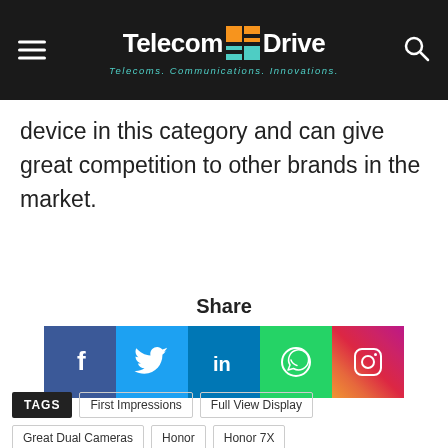TelecomDrive – Telecoms. Communications. Innovations.
device in this category and can give great competition to other brands in the market.
Share
[Figure (other): Social share buttons: Facebook, Twitter, LinkedIn, WhatsApp, Instagram]
TAGS  First Impressions  Full View Display  Great Dual Cameras  Honor  Honor 7X  Honor 7X first impressions  Honor India  Huawei  India